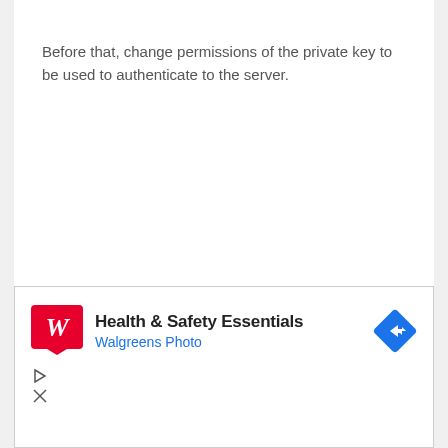Before that, change permissions of the private key to be used to authenticate to the server.
[Figure (screenshot): Walgreens advertisement banner showing Health & Safety Essentials with Walgreens Photo branding, a red Walgreens W logo, a blue diamond-shaped arrow icon, and ad control icons (play and close buttons).]